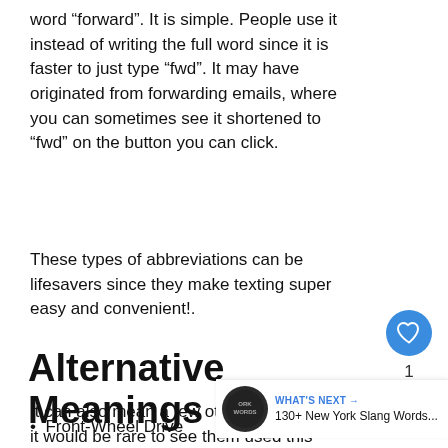word “forward”. It is simple. People use it instead of writing the full word since it is faster to just type “fwd”. It may have originated from forwarding emails, where you can sometimes see it shortened to “fwd” on the button you can click.
These types of abbreviations can be lifesavers since they make texting super easy and convenient!.
Alternative Meanings
It can also mean a few other things, but it would be rare to see them used this
Front-Wheel Drive